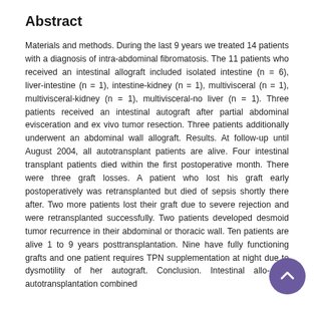Abstract
Materials and methods. During the last 9 years we treated 14 patients with a diagnosis of intra-abdominal fibromatosis. The 11 patients who received an intestinal allograft included isolated intestine (n = 6), liver-intestine (n = 1), intestine-kidney (n = 1), multivisceral (n = 1), multivisceral-kidney (n = 1), multivisceral-no liver (n = 1). Three patients received an intestinal autograft after partial abdominal evisceration and ex vivo tumor resection. Three patients additionally underwent an abdominal wall allograft. Results. At follow-up until August 2004, all autotransplant patients are alive. Four intestinal transplant patients died within the first postoperative month. There were three graft losses. A patient who lost his graft early postoperatively was retransplanted but died of sepsis shortly there after. Two more patients lost their graft due to severe rejection and were retransplanted successfully. Two patients developed desmoid tumor recurrence in their abdominal or thoracic wall. Ten patients are alive 1 to 9 years posttransplantation. Nine have fully functioning grafts and one patient requires TPN supplementation at night due to dysmotility of her autograft. Conclusion. Intestinal allo-, or autotransplantation combined